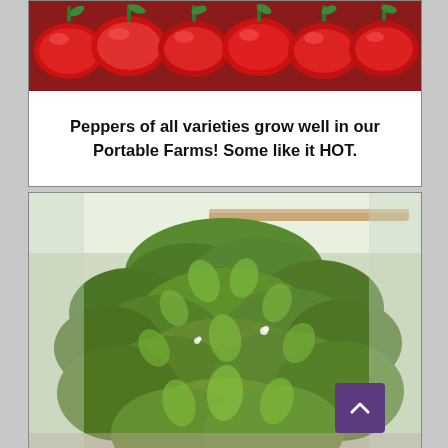[Figure (photo): Close-up photo of red and green peppers/chillies clustered together]
Peppers of all varieties grow well in our Portable Farms! Some like it HOT.
[Figure (photo): Lush green bean or vine plants growing over a wooden trellis structure in a greenhouse or outdoor setting, with dense heart-shaped leaves cascading down all sides]